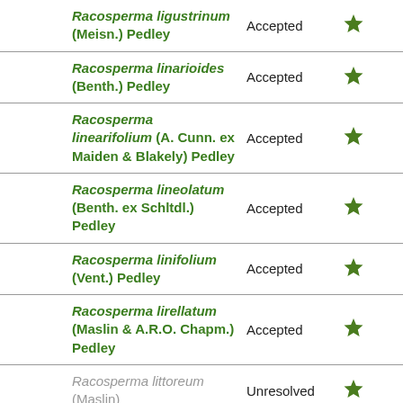| Name | Status |  |
| --- | --- | --- |
| Racosperma ligustrinum (Meisn.) Pedley | Accepted | ★ |
| Racosperma linarioides (Benth.) Pedley | Accepted | ★ |
| Racosperma linearifolium (A. Cunn. ex Maiden & Blakely) Pedley | Accepted | ★ |
| Racosperma lineolatum (Benth. ex Schltdl.) Pedley | Accepted | ★ |
| Racosperma linifolium (Vent.) Pedley | Accepted | ★ |
| Racosperma lirellatum (Maslin & A.R.O. Chapm.) Pedley | Accepted | ★ |
| Racosperma littoreum (Maslin) | Unresolved | ★ |